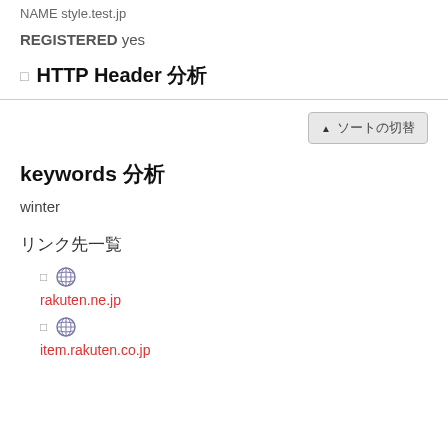NAME style.test.jp
REGISTERED yes
HTTP Header 分析
▲ ソートの切替
keywords 分析
winter
リンク先一覧
rakuten.ne.jp
item.rakuten.co.jp